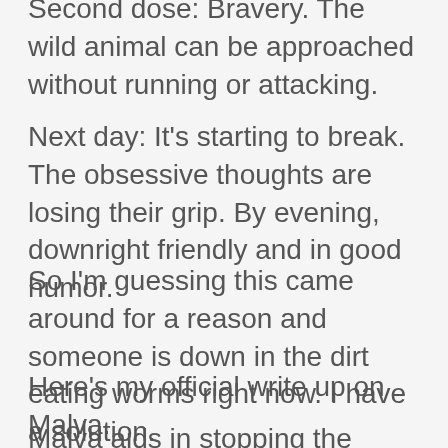Second dose: Bravery.  The wild animal can be approached without running or attacking.
Next day: It's starting to break.  The obsessive thoughts are losing their grip.  By evening, downright friendly and in good humor.
So I'm guessing this came around for a reason and someone is down in the dirt eating worms right now.  I have a solution.
Here's my official write up on Malva.
Malva aids in stopping the cycles of rejection.  For many of us life is always about what we perceive things to be and not what they necessarily are in reality.  An initial